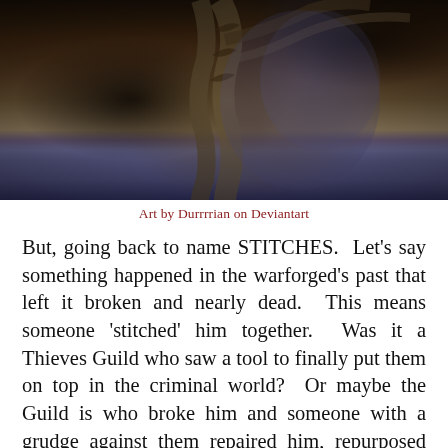[Figure (illustration): Dark fantasy digital painting of a skeletal or undead creature/warforged figure with bone-like protrusions against a dark smoky blue-grey background]
Art by Durrrrian on Deviantart
But, going back to name STITCHES.  Let's say something happened in the warforged's past that left it broken and nearly dead.  This means someone 'stitched' him together.  Was it a Thieves Guild who saw a tool to finally put them on top in the criminal world?  Or maybe the Guild is who broke him and someone with a grudge against them repaired him, repurposed him and set him against them: killing them one by one by one.  Possibly, he was a valiant knight of the kingdom and, now, he's been turned